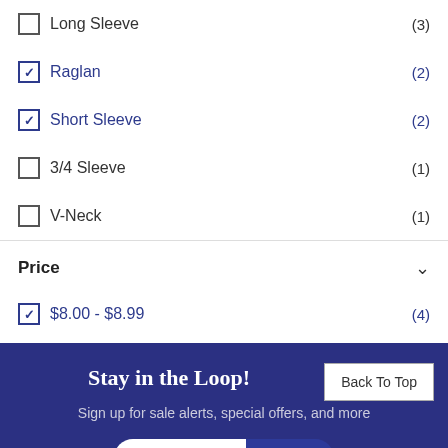Long Sleeve (3)
Raglan (2)
Short Sleeve (2)
3/4 Sleeve (1)
V-Neck (1)
Price
$8.00 - $8.99 (4)
Stay in the Loop!
Sign up for sale alerts, special offers, and more